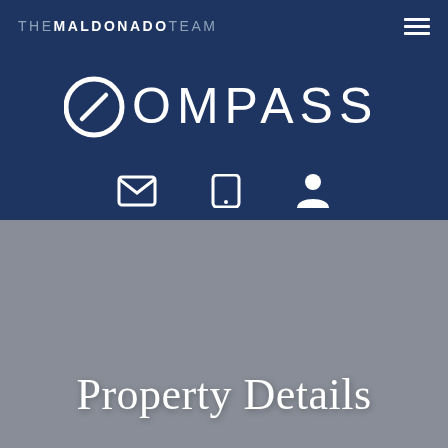THE MALDONADO TEAM
[Figure (logo): Compass real estate logo with stylized 'C' containing a compass needle icon and the word COMPASS in large spaced letters]
[Figure (other): Three icon buttons: envelope (email), phone, and user/person icons in white on dark navy background]
Property Details